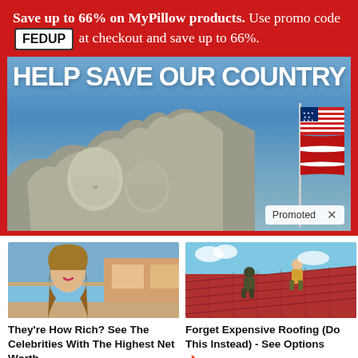Save up to 66% on MyPillow products. Use promo code FEDUP at checkout and save up to 66%.
[Figure (photo): MyPillow advertisement banner with Mount Rushmore and American flag, text: HELP SAVE OUR COUNTRY. Shows 'Promoted' badge with X.]
[Figure (photo): Celebrity woman with long hair in front of a villa and pool]
They're How Rich? See The Celebrities With The Highest Net Worth
🔥 923
[Figure (photo): Workers on a red tile roof under blue sky]
Forget Expensive Roofing (Do This Instead) - See Options
🔥 951